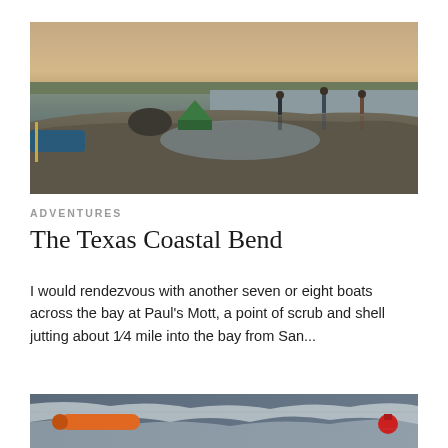[Figure (photo): Outdoor camping scene on a narrow sandy/shell spit with boats, tents, and people standing at water's edge during sunset or dusk. Water reflections visible.]
ADVENTURES
The Texas Coastal Bend
I would rendezvous with another seven or eight boats across the bay at Paul's Mott, a point of scrub and shell jutting about 1⁄4 mile into the bay from San...
[Figure (photo): Aerial or close-up photo of water surface with an orange/yellow object and a red buoy visible.]